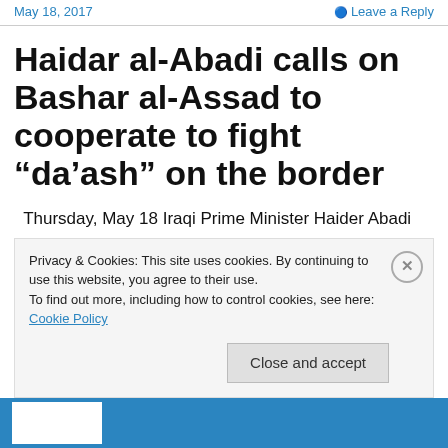May 18, 2017   Leave a Reply
Haidar al-Abadi calls on Bashar al-Assad to cooperate to fight “da’ash” on the border
Thursday, May 18 Iraqi Prime Minister Haider Abadi Baghdad-Najla al-Tai Syrian President Bashar al-Assad on Thursday received an oral message from Iraqi Prime Minister Haidar al-Abadi , in which he pointed to the
Privacy & Cookies: This site uses cookies. By continuing to use this website, you agree to their use.
To find out more, including how to control cookies, see here: Cookie Policy